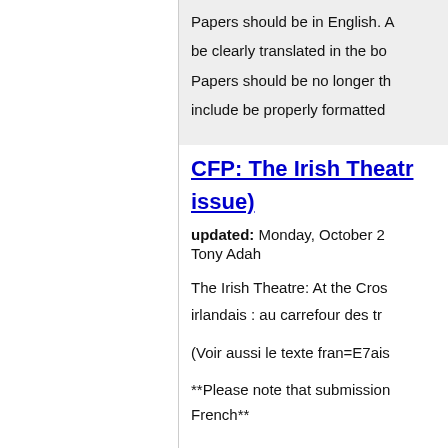Papers should be in English. A... be clearly translated in the bo... Papers should be no longer th... include be properly formatted
CFP: The Irish Theatr... issue)
updated: Monday, October 2
Tony Adah
The Irish Theatre: At the Cros... irlandais : au carrefour des tr...
(Voir aussi le texte fran=E7ais
**Please note that submission... French**